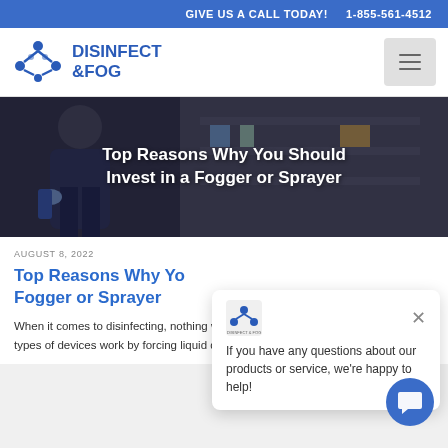GIVE US A CALL TODAY!   1-855-561-4512
[Figure (logo): Disinfect & Fog logo with stylized molecule icon in blue]
[Figure (photo): Healthcare worker in mask and gloves in medical setting with overlay text: Top Reasons Why You Should Invest in a Fogger or Sprayer]
AUGUST 8, 2022
Top Reasons Why You Should Invest in a Fogger or Sprayer
If you have any questions about our products or service, we're happy to help!
When it comes to disinfecting, nothing works better than foggers or sprayers. Both types of devices work by forcing liquid disinfectants....